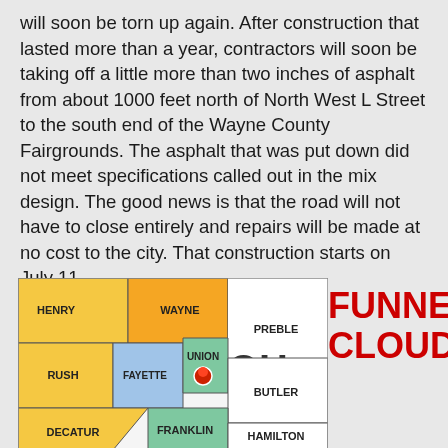will soon be torn up again. After construction that lasted more than a year, contractors will soon be taking off a little more than two inches of asphalt from about 1000 feet north of North West L Street to the south end of the Wayne County Fairgrounds. The asphalt that was put down did not meet specifications called out in the mix design. The good news is that the road will not have to close entirely and repairs will be made at no cost to the city. That construction starts on July 11.
[Figure (map): Map of Ohio counties showing Henry, Wayne, MONTGOMERY (partial), Rush, Fayette, Union, Preble, Butler, Hamilton (partial), Franklin, Decatur counties with colored regions. A red location marker dot is on Union county. The state abbreviation OH is shown prominently.]
FUNNEL CLOUD